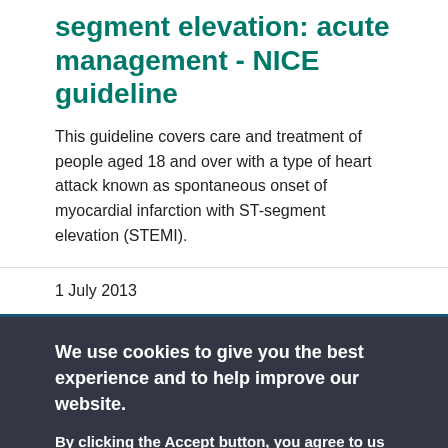segment elevation: acute management - NICE guideline
This guideline covers care and treatment of people aged 18 and over with a type of heart attack known as spontaneous onset of myocardial infarction with ST-segment elevation (STEMI).
1 July 2013
We use cookies to give you the best experience and to help improve our website.
By clicking the Accept button, you agree to us doing so. Find out more